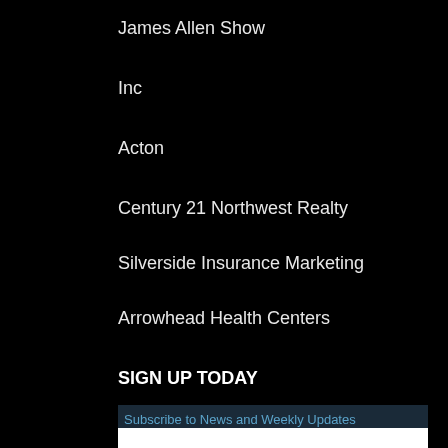James Allen Show
Inc
Acton
Century 21 Northwest Realty
Silverside Insurance Marketing
Arrowhead Health Centers
SIGN UP TODAY
Subscribe to News and Weekly Updates
email address
SUBSCRIBE
META
Log in